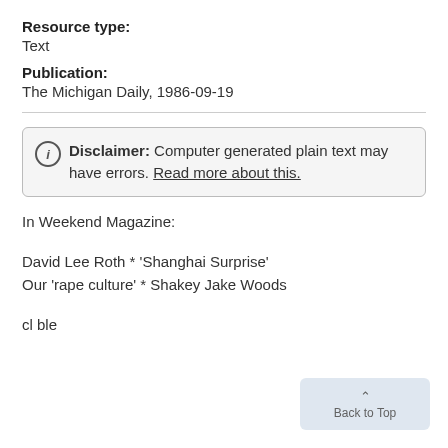Resource type:
Text
Publication:
The Michigan Daily, 1986-09-19
Disclaimer: Computer generated plain text may have errors. Read more about this.
In Weekend Magazine:
David Lee Roth * 'Shanghai Surprise'
Our 'rape culture' * Shakey Jake Woods
cl ble